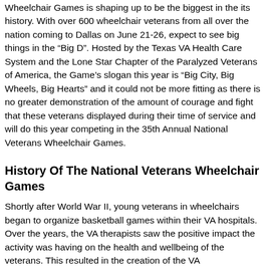Wheelchair Games is shaping up to be the biggest in the its history. With over 600 wheelchair veterans from all over the nation coming to Dallas on June 21-26, expect to see big things in the “Big D”. Hosted by the Texas VA Health Care System and the Lone Star Chapter of the Paralyzed Veterans of America, the Game’s slogan this year is “Big City, Big Wheels, Big Hearts” and it could not be more fitting as there is no greater demonstration of the amount of courage and fight that these veterans displayed during their time of service and will do this year competing in the 35th Annual National Veterans Wheelchair Games.
History Of The National Veterans Wheelchair Games
Shortly after World War II, young veterans in wheelchairs began to organize basketball games within their VA hospitals. Over the years, the VA therapists saw the positive impact the activity was having on the health and wellbeing of the veterans. This resulted in the creation of the VA